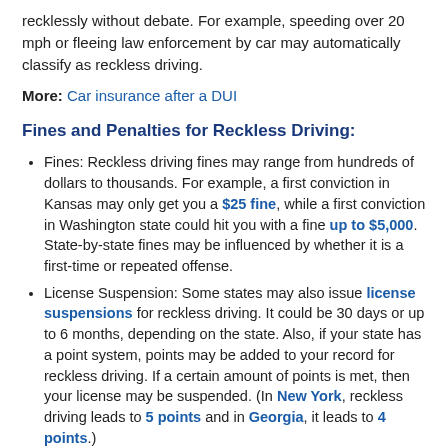recklessly without debate. For example, speeding over 20 mph or fleeing law enforcement by car may automatically classify as reckless driving.
More: Car insurance after a DUI
Fines and Penalties for Reckless Driving:
Fines: Reckless driving fines may range from hundreds of dollars to thousands. For example, a first conviction in Kansas may only get you a $25 fine, while a first conviction in Washington state could hit you with a fine up to $5,000. State-by-state fines may be influenced by whether it is a first-time or repeated offense.
License Suspension: Some states may also issue license suspensions for reckless driving. It could be 30 days or up to 6 months, depending on the state. Also, if your state has a point system, points may be added to your record for reckless driving. If a certain amount of points is met, then your license may be suspended. (In New York, reckless driving leads to 5 points and in Georgia, it leads to 4 points.)
Jail or prison: You may be put behind bars for reckless driving.